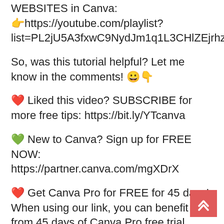WEBSITES in Canva:
👉https://youtube.com/playlist?list=PL2jU5A3fxwC9NydJm1q1L3CHlZEjrhzIP
So, was this tutorial helpful? Let me know in the comments! 😀👇
❤️ Liked this video? SUBSCRIBE for more free tips: https://bit.ly/YTcanva
💚 New to Canva? Sign up for FREE NOW:
https://partner.canva.com/mgXDrX
❤️ Get Canva Pro for FREE for 45 days!
When using our link, you can benefit from 45 days of Canva Pro free trial, which is 15 days extra than what is offered via the Canva website! 🎉🎉